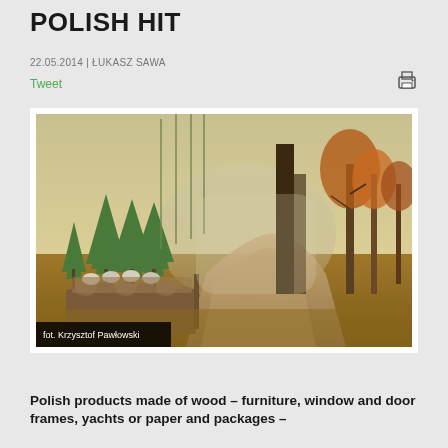POLISH HIT
22.05.2014 | ŁUKASZ SAWA
Tweet
[Figure (photo): Forest road winding through a Polish woodland with tall pine trees, misty atmosphere, stacked timber logs on the left, and autumn-colored trees on the right. Photo credit: Krzysztof Pawłowski]
fot. Krzysztof Pawłowski
Polish products made of wood – furniture, window and door frames, yachts or paper and packages –